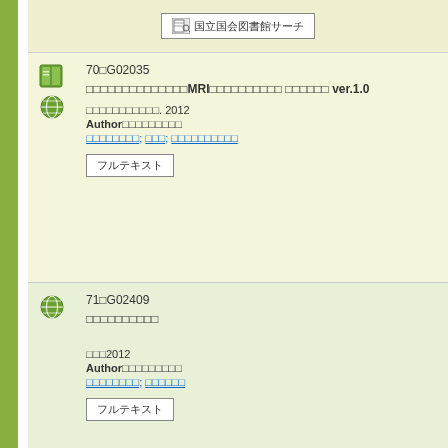[Figure (other): National Diet Library Search button with icon]
70 G02035 - MRI related Japanese text entry with author and fulltext button, 2012
71 G02409 - Japanese text entry with author and fulltext button, 2012
72 G01020 - Japanese text entry, Source with ISSN (1346-1176) Page667-670(2011.11), Author